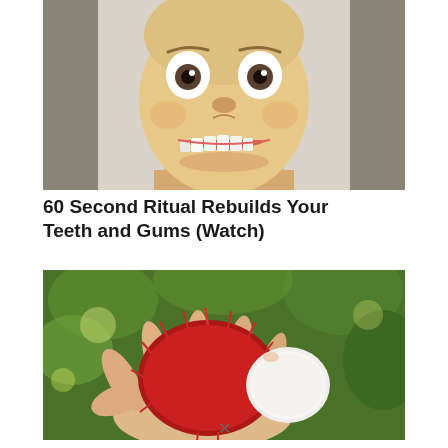[Figure (photo): Close-up photo of a man making an exaggerated face — wide eyes and bared teeth, showing his teeth and gums, taken from a low angle looking up at his face]
60 Second Ritual Rebuilds Your Teeth and Gums (Watch)
[Figure (photo): Photo of a hand holding a rambutan fruit (red spiky tropical fruit) with its white interior flesh visible, with green leafy background]